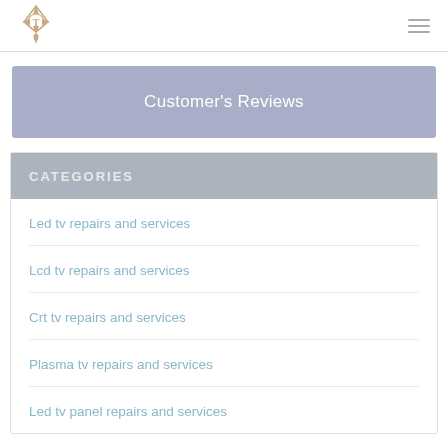Customer's Reviews
CATEGORIES
Led tv repairs and services
Lcd tv repairs and services
Crt tv repairs and services
Plasma tv repairs and services
Led tv panel repairs and services